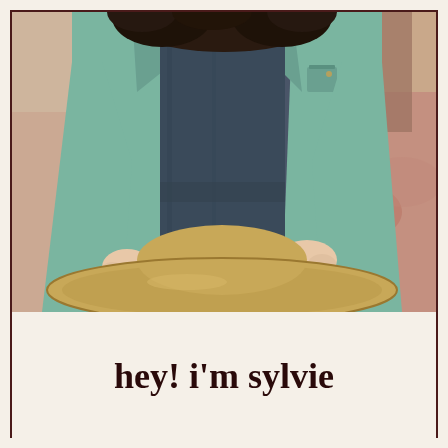[Figure (photo): A woman with curly dark hair wearing a teal/mint denim jacket over a dark navy dress, holding a tan wide-brim hat in front of her. The background shows an outdoor scene with fallen autumn leaves on gravel and trees.]
hey! i'm sylvie